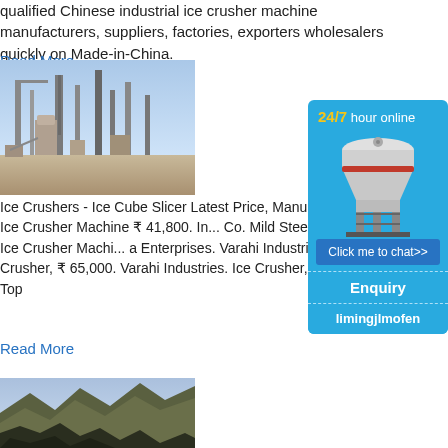qualified Chinese industrial ice crusher machine manufacturers, suppliers, factories, exporters wholesalers quickly on Made-in-China.
Read More
[Figure (photo): Industrial factory with tall silos and structures in a desert landscape]
Ice Crushers - Ice Cube Slicer Latest Price, Manu... Industrial Ice Crusher Machine ₹ 41,800. In... Co. Mild Steel Industrial Ice Crusher Machi... a Enterprises. Varahi Industries Ice Crusher, ₹ 65,000. Varahi Industries. Ice Crusher, Mo... Table Top
Read More
[Figure (photo): Rocky mountain terrain]
[Figure (illustration): Sidebar ad: 24/7 hour online. Industrial cone crusher machine image. Click me to chat>> button. Enquiry section. limingjlmofen text.]